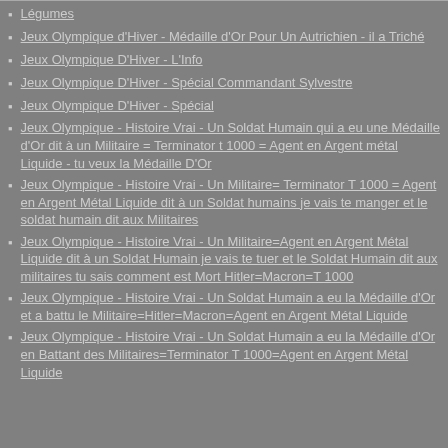Légumes
Jeux Olympique d'Hiver - Médaille d'Or Pour Un Autrichien - il a Triché
Jeux Olympique D'Hiver - L'Info
Jeux Olympique D'Hiver - Spécial Commandant Sylvestre
Jeux Olympique D'Hiver - Spécial
Jeux Olympique - Histoire Vrai - Un Soldat Humain qui a eu une Médaille d'Or dit à un Militaire = Terminator t 1000 = Agent en Argent métal Liquide - tu veux la Médaille D'Or
Jeux Olympique - Histoire Vrai - Un Militaire= Terminator T 1000 = Agent en Argent Métal Liquide dit à un Soldat humains je vais te manger et le soldat humain dit aux Militaires
Jeux Olympique - Histoire Vrai - Un Militaire=Agent en Argent Métal Liquide dit à un Soldat Humain je vais te tuer et le Soldat Humain dit aux militaires tu sais comment est Mort Hitler=Macron=T 1000
Jeux Olympique - Histoire Vrai - Un Soldat Humain a eu la Médaille d'Or et a battu le Militaire=Hitler=Macron=Agent en Argent Métal Liquide
Jeux Olympique - Histoire Vrai - Un Soldat Humain a eu la Médaille d'Or en Battant des Militaires=Terminator T 1000=Agent en Argent Métal Liquide